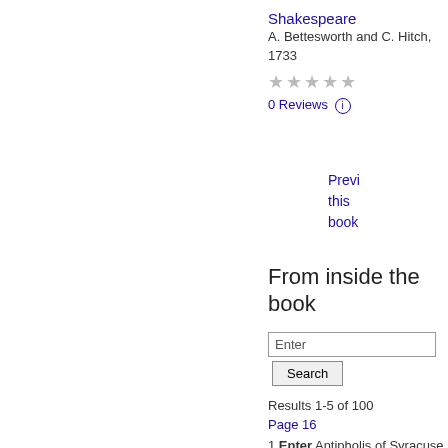Shakespeare
A. Bettesworth and C. Hitch, 1733
★★★★★
0 Reviews ⓘ
Preview this book
From inside the book
Enter
Search
Results 1-5 of 100
Page 16
1 Enter Antipholis of Syracuse . Ant . H E gold I gave to Dromio is laid up Safe at the Centaur :